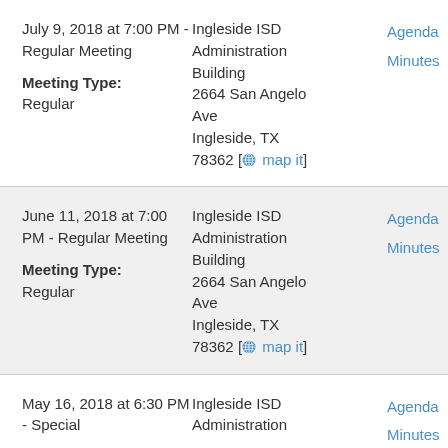| Date/Meeting | Location | Links |
| --- | --- | --- |
| July 9, 2018 at 7:00 PM - Regular Meeting
Meeting Type: Regular | Ingleside ISD Administration Building
2664 San Angelo Ave
Ingleside, TX 78362 [map it] | Agenda
Minutes |
| June 11, 2018 at 7:00 PM - Regular Meeting
Meeting Type: Regular | Ingleside ISD Administration Building
2664 San Angelo Ave
Ingleside, TX 78362 [map it] | Agenda
Minutes |
| May 16, 2018 at 6:30 PM - Special Meeting | Ingleside ISD Administration | Agenda
Minutes |